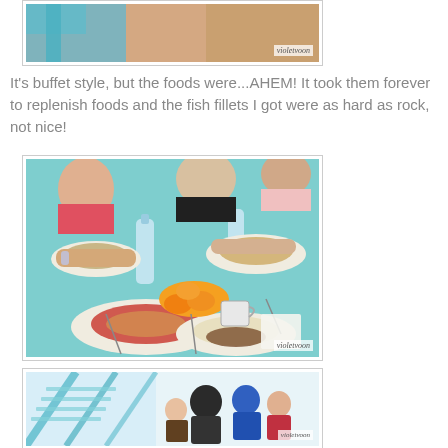[Figure (photo): Partial photo of person's legs, watermarked 'violetvoon', cropped at top]
It's buffet style, but the foods were...AHEM! It took them forever to replenish foods and the fish fillets I got were as hard as rock, not nice!
[Figure (photo): People sitting around a teal table eating buffet food — various plates with spaghetti, rice, meat, oranges, water bottles; watermarked 'violetvoon']
[Figure (photo): Interior shot of a building with escalator/stairs and people; watermarked 'violetvoon']